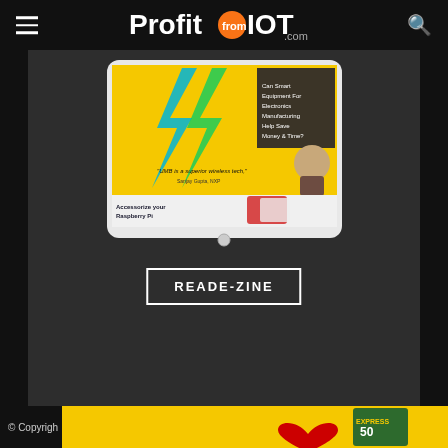ProfitfromIOT.com
[Figure (screenshot): Tablet device showing ProfitfromIOT magazine e-zine page with yellow background, lightning bolt graphics, person photo, and Raspberry Pi accessories ad]
READ E-ZINE
© Copyrigh...
[Figure (photo): Yellow advertisement strip with red heart graphic and Express branding at bottom of page]